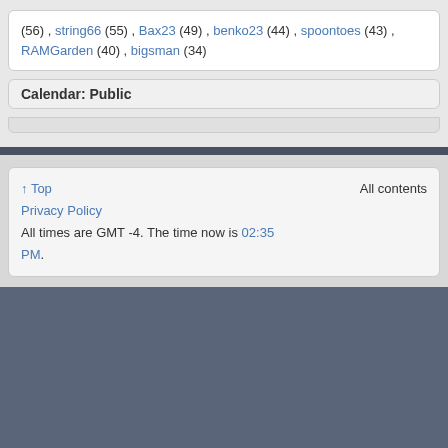(56) , string66 (55) , Bax23 (49) , benko23 (44) , spoontoes (43) , RAMGarden (40) , bigsman (34)
Calendar: Public
↑ Top  Privacy Policy  All times are GMT -4. The time now is 02:35 PM.